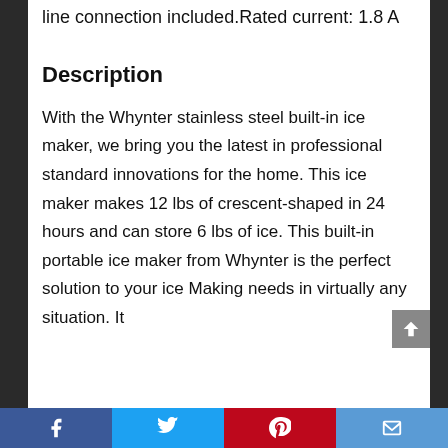line connection included.Rated current: 1.8 A
Description
With the Whynter stainless steel built-in ice maker, we bring you the latest in professional standard innovations for the home. This ice maker makes 12 lbs of crescent-shaped in 24 hours and can store 6 lbs of ice. This built-in portable ice maker from Whynter is the perfect solution to your ice Making needs in virtually any situation. It